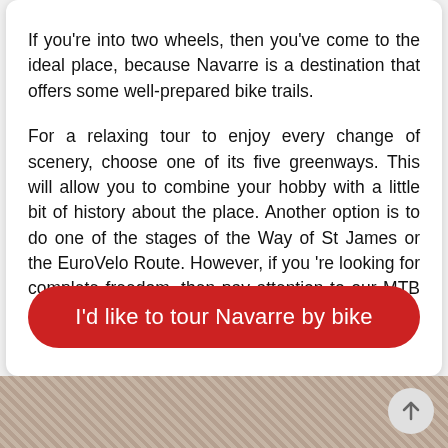If you're into two wheels, then you've come to the ideal place, because Navarre is a destination that offers some well-prepared bike trails.
For a relaxing tour to enjoy every change of scenery, choose one of its five greenways. This will allow you to combine your hobby with a little bit of history about the place. Another option is to do one of the stages of the Way of St James or the EuroVelo Route. However, if you 're looking for complete freedom, then pay attention to our MTB spaces.
I'd like to tour Navarre by bike
[Figure (photo): Bottom strip showing a textured earth/rock surface photograph, partially visible at the bottom of the page. A circular scroll-up button with an upward arrow is overlaid on the right side.]